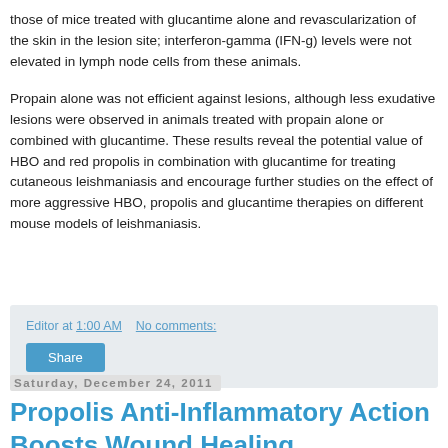those of mice treated with glucantime alone and revascularization of the skin in the lesion site; interferon-gamma (IFN-g) levels were not elevated in lymph node cells from these animals.
Propain alone was not efficient against lesions, although less exudative lesions were observed in animals treated with propain alone or combined with glucantime. These results reveal the potential value of HBO and red propolis in combination with glucantime for treating cutaneous leishmaniasis and encourage further studies on the effect of more aggressive HBO, propolis and glucantime therapies on different mouse models of leishmaniasis.
Editor at 1:00 AM   No comments:
Share
Saturday, December 24, 2011
Propolis Anti-Inflammatory Action Boosts Wound Healing